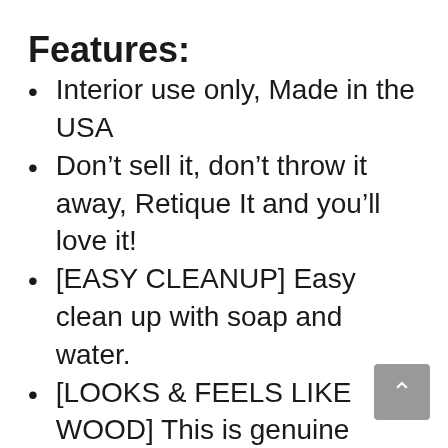Features:
Interior use only, Made in the USA
Don’t sell it, don’t throw it away, Retique It and you’ll love it!
[EASY CLEANUP] Easy clean up with soap and water.
[LOOKS & FEELS LIKE WOOD] This is genuine liquid wood, not a faux finish. Looks like wood, feels like wood because it IS wood. We have found a way to make wood particles